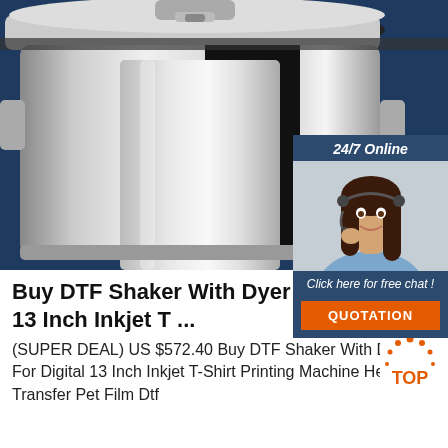[Figure (photo): Stainless steel DTF shaker/dryer machine on a dark navy blue background, close-up showing the metallic cylindrical drum and lid details.]
[Figure (photo): Chat widget overlay showing '24/7 Online' header, a customer service agent woman with headset smiling, text 'Click here for free chat!' and an orange QUOTATION button.]
Buy DTF Shaker With Dyer Fo... 13 Inch Inkjet T ...
(SUPER DEAL) US $572.40 Buy DTF Shaker With Dyer For Digital 13 Inch Inkjet T-Shirt Printing Machine Heat Transfer Pet Film Dtf
[Figure (logo): TOP badge logo with orange dots arranged in a circle above the word TOP in orange text on white background.]